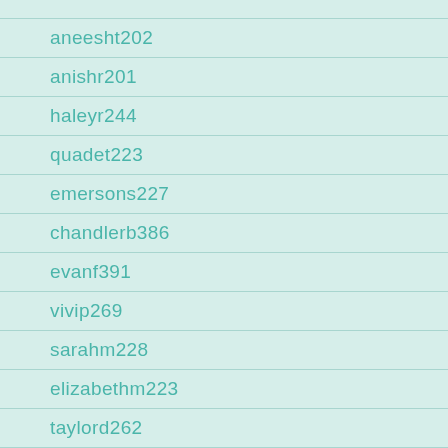aneesht202
anishr201
haleyr244
quadet223
emersons227
chandlerb386
evanf391
vivip269
sarahm228
elizabethm223
taylord262